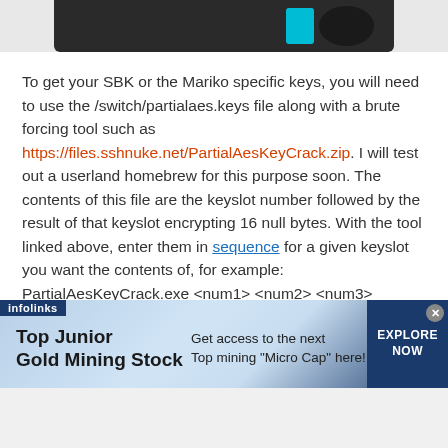[Figure (photo): Top portion of a Nintendo Switch or similar gaming device in dark/black color with cyan accent and a black circular component on a gray background]
To get your SBK or the Mariko specific keys, you will need to use the /switch/partialaes.keys file along with a brute forcing tool such as https://files.sshnuke.net/PartialAesKeyCrack.zip. I will test out a userland homebrew for this purpose soon. The contents of this file are the keyslot number followed by the result of that keyslot encrypting 16 null bytes. With the tool linked above, enter them in sequence for a given keyslot you want the contents of, for example: PartialAesKeyCrack.exe <num1> <num2> <num3> <num4> with the --numthreads = N where N is the number of
[Figure (infographic): Infolinks advertisement banner: Top Junior Gold Mining Stock - Get access to the next Top mining "Micro Cap" here! - EXPLORE NOW]